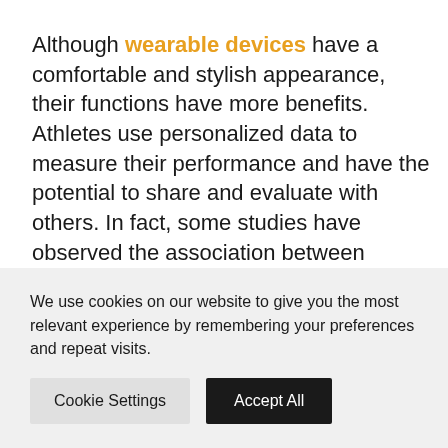Although wearable devices have a comfortable and stylish appearance, their functions have more benefits. Athletes use personalized data to measure their performance and have the potential to share and evaluate with others. In fact, some studies have observed the association between wearable devices and emerging athletes in the pursuit of professional sports. Wearable devices use…
We use cookies on our website to give you the most relevant experience by remembering your preferences and repeat visits.